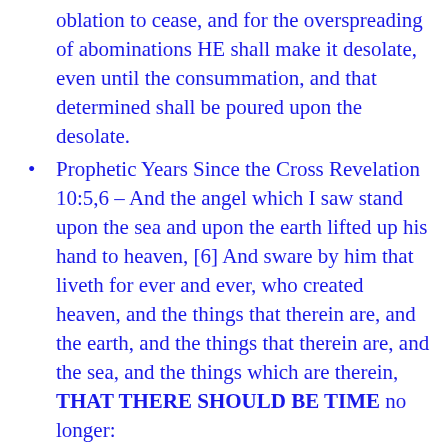oblation to cease, and for the overspreading of abominations HE shall make it desolate, even until the consummation, and that determined shall be poured upon the desolate.
Prophetic Years Since the Cross Revelation 10:5,6 – And the angel which I saw stand upon the sea and upon the earth lifted up his hand to heaven, [6] And sware by him that liveth for ever and ever, who created heaven, and the things that therein are, and the earth, and the things that therein are, and the sea, and the things which are therein, THAT THERE SHOULD BE TIME no longer:
Punish the Inhabitants of the Earth
Quiet in the New Testament And that ye